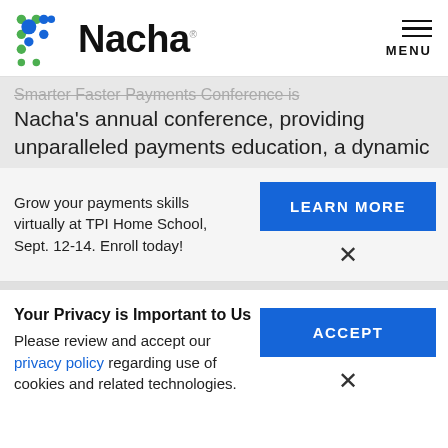[Figure (logo): Nacha logo with colored dot grid and wordmark]
Smarter Faster Payments Conference is Nacha's annual conference, providing unparalleled payments education, a dynamic
Grow your payments skills virtually at TPI Home School, Sept. 12-14. Enroll today!
LEARN MORE
Your Privacy is Important to Us
Please review and accept our privacy policy regarding use of cookies and related technologies.
ACCEPT